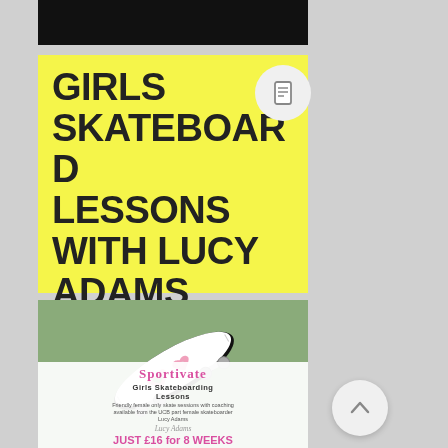[Figure (screenshot): Black bar at top (partial screenshot of a website header)]
GIRLS SKATEBOARD LESSONS WITH LUCY ADAMS
[Figure (illustration): Illustration of a skateboard with pink heart designs on a sage green background, with Sportivate Girls Skateboarding Lessons flyer text overlay. Text reads: Sportivate, Girls Skateboarding Lessons, Friendly female only skate sessions with coaching available from the UCB part female skateboarder Lucy Adams, JUST £16 for 8 WEEKS, STARTS 17th SEPT.]